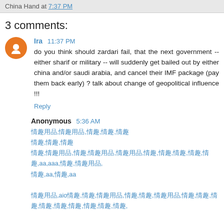China Hand at 7:37 PM
3 comments:
Ira 11:37 PM
do you think should zardari fail, that the next government -- either sharif or military -- will suddenly get bailed out by either china and/or saudi arabia, and cancel their IMF package (pay them back early) ? talk about change of geopolitical influence !!!
Reply
Anonymous 5:36 AM
[Chinese language links text]